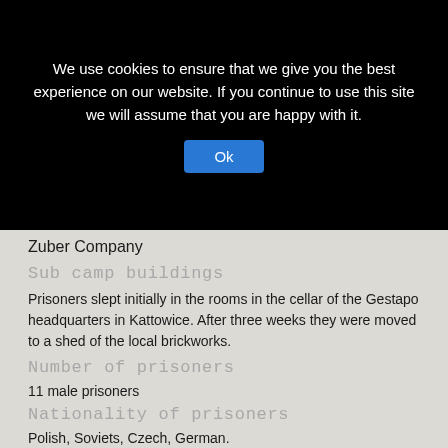We use cookies to ensure that we give you the best experience on our website. If you continue to use this site we will assume that you are happy with it.
Ok
Zuber Company
Sub camp buildings
Prisoners slept initially in the rooms in the cellar of the Gestapo headquarters in Kattowice. After three weeks they were moved to a shed of the local brickworks.
Number of prisoners
11 male prisoners
Nationality of prisoners
Polish, Soviets, Czech, German.